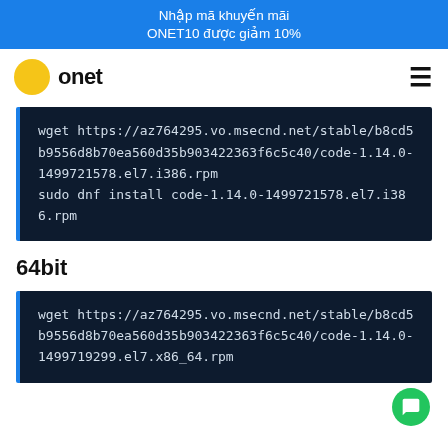Nhập mã khuyến mãi ONET10 được giảm 10%
[Figure (logo): Onet logo with yellow circle and bold text 'onet']
wget https://az764295.vo.msecnd.net/stable/b8cd5b9556d8b70ea560d35b903422363f6c5c40/code-1.14.0-1499721578.el7.i386.rpm
sudo dnf install code-1.14.0-1499721578.el7.i386.rpm
64bit
wget https://az764295.vo.msecnd.net/stable/b8cd5b9556d8b70ea560d35b903422363f6c5c40/code-1.14.0-1499719299.el7.x86_64.rpm